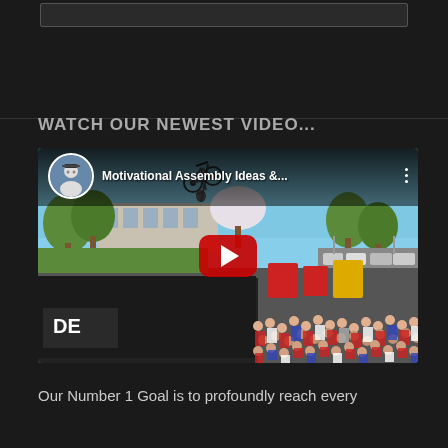WATCH OUR NEWEST VIDEO...
[Figure (screenshot): YouTube video thumbnail showing a BMX rider doing a trick in the air over a ramp at a school assembly, with crowd of students watching. Video title: 'Motivational Assembly Ideas &...']
Our Number 1 Goal is to profoundly reach every